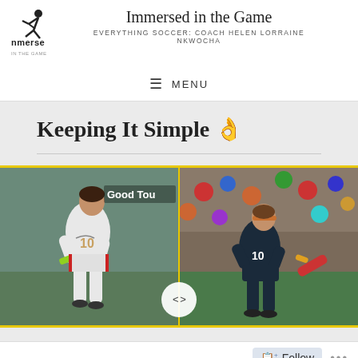[Figure (logo): nmerse 'Immersed in the Game' logo with running figure icon]
Immersed in the Game
EVERYTHING SOCCER: COACH HELEN LORRAINE NKWOCHA
Keeping It Simple 👌
[Figure (photo): Two side-by-side soccer action photos of player wearing jersey number 10. Left image shows a woman in white USA uniform dribbling. Right image shows a player in dark uniform competing. Text overlay reads 'Good Tou' (truncated). Yellow border around both images. Navigation arrows visible at bottom center.]